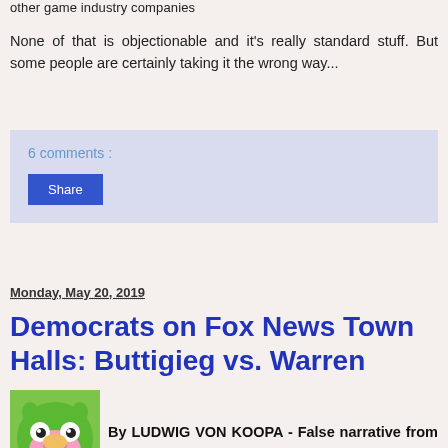other game industry companies
None of that is objectionable and it's really standard stuff. But some people are certainly taking it the wrong way...
6 comments :
Share
Monday, May 20, 2019
Democrats on Fox News Town Halls: Buttigieg vs. Warren
By LUDWIG VON KOOPA - False narrative from a fraud.